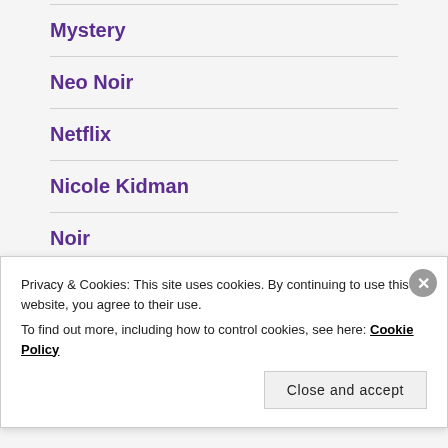Mystery
Neo Noir
Netflix
Nicole Kidman
Noir
Oscar
Privacy & Cookies: This site uses cookies. By continuing to use this website, you agree to their use.
To find out more, including how to control cookies, see here: Cookie Policy
Close and accept